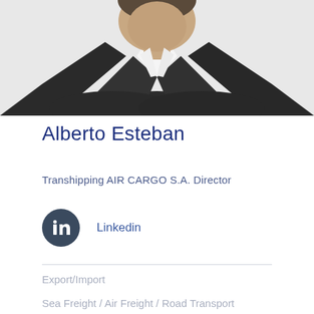[Figure (photo): Professional headshot of Alberto Esteban, a man in a dark suit with arms crossed, white background, upper body visible, cropped at bottom of image.]
Alberto Esteban
Transhipping AIR CARGO S.A. Director
Linkedin
Export/Import
Sea Freight / Air Freight / Road Transport